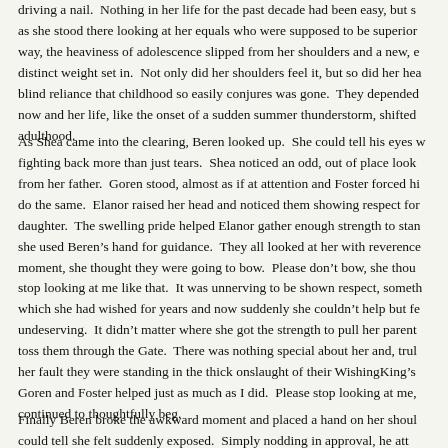driving a nail.  Nothing in her life for the past decade had been easy, but as she stood there looking at her equals who were supposed to be superior way, the heaviness of adolescence slipped from her shoulders and a new, e distinct weight set in.  Not only did her shoulders feel it, but so did her hea blind reliance that childhood so easily conjures was gone.  They depended now and her life, like the onset of a sudden summer thunderstorm, shifted adulthood.
As Shea came into the clearing, Beren looked up.  She could tell his eyes w fighting back more than just tears.  Shea noticed an odd, out of place look from her father.  Goren stood, almost as if at attention and Foster forced hi do the same.  Elanor raised her head and noticed them showing respect for daughter.  The swelling pride helped Elanor gather enough strength to stan she used Beren’s hand for guidance.  They all looked at her with reverence moment, she thought they were going to bow.  Please don’t bow, she thou stop looking at me like that.  It was unnerving to be shown respect, someth which she had wished for years and now suddenly she couldn’t help but fe undeserving.  It didn’t matter where she got the strength to pull her parent toss them through the Gate.  There was nothing special about her and, trul her fault they were standing in the thick onslaught of their WishingKing’s Goren and Foster helped just as much as I did.  Please stop looking at me, continued to thoughtfully beg.
Finally Beren broke the awkward moment and placed a hand on her shoul could tell she felt suddenly exposed.  Simply nodding in approval, he att